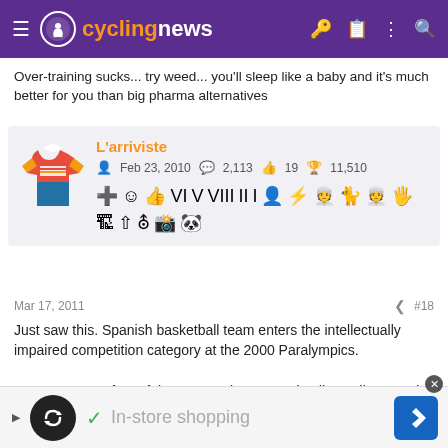cyclingnews
Over-training sucks... try weed... you'll sleep like a baby and it's much better for you than big pharma alternatives
L'arriviste
Feb 23, 2010  2,113  19  11,510
Mar 17, 2011  #18
Just saw this. Spanish basketball team enters the intellectually impaired competition category at the 2000 Paralympics.

Except 10 out of 12 of the team's players are intellectually normal.
[Figure (screenshot): Ad bar at bottom: In-store shopping with infinity loop logo and navigation arrow]